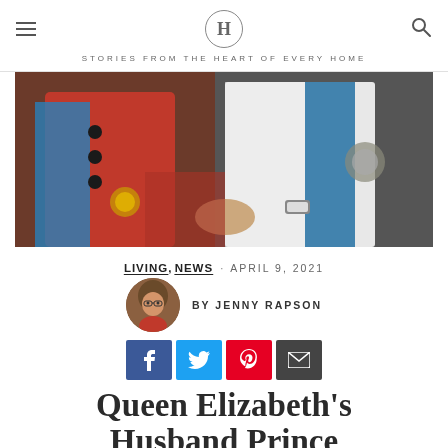H · STORIES FROM THE HEART OF EVERY HOME
[Figure (photo): Close-up photo of two people in formal/ceremonial attire — red jacket on the left, white lace top with blue sash on the right, holding hands]
LIVING, NEWS · APRIL 9, 2021
BY JENNY RAPSON
[Figure (infographic): Social share buttons: Facebook, Twitter, Pinterest, Email]
Queen Elizabeth's Husband Prince Philip, the Love of